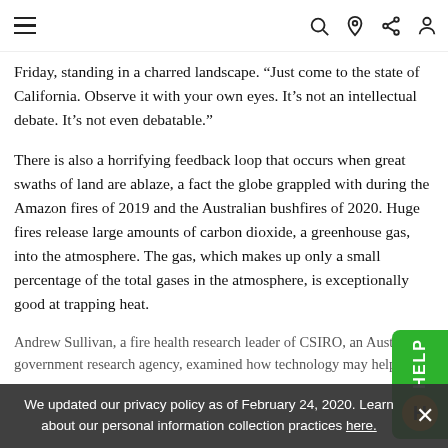Navigation bar with hamburger menu, search, location, share, and profile icons
Friday, standing in a charred landscape. “Just come to the state of California. Observe it with your own eyes. It’s not an intellectual debate. It’s not even debatable.”
There is also a horrifying feedback loop that occurs when great swaths of land are ablaze, a fact the globe grappled with during the Amazon fires of 2019 and the Australian bushfires of 2020. Huge fires release large amounts of carbon dioxide, a greenhouse gas, into the atmosphere. The gas, which makes up only a small percentage of the total gases in the atmosphere, is exceptionally good at trapping heat.
Andrew Sullivan, a fire health research leader of CSIRO, an Australian government research agency, examined how technology may help
We updated our privacy policy as of February 24, 2020. Learn about our personal information collection practices here.